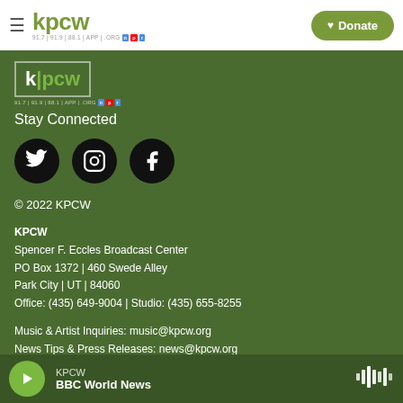kpcw — Donate
[Figure (logo): KPCW radio station logo in green section with bordered box]
Stay Connected
[Figure (illustration): Three black circular social media icons: Twitter, Instagram, Facebook]
© 2022 KPCW
KPCW
Spencer F. Eccles Broadcast Center
PO Box 1372 | 460 Swede Alley
Park City | UT | 84060
Office: (435) 649-9004 | Studio: (435) 655-8255
Music & Artist Inquiries: music@kpcw.org
News Tips & Press Releases: news@kpcw.org
Volunteer Opportunities
KPCW — BBC World News